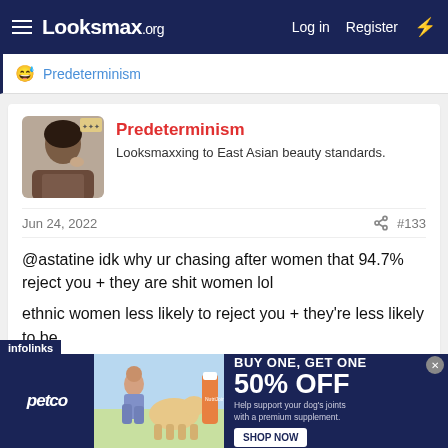Looksmax.org — Log in  Register
Predeterminism
Predeterminism
Looksmaxxing to East Asian beauty standards.
Jun 24, 2022   #133
@astatine idk why ur chasing after women that 94.7% reject you + they are shit women lol

ethnic women less likely to reject you + they're less likely to be
[Figure (screenshot): Petco advertisement banner: BUY ONE, GET ONE 50% OFF - Help support your dog's joints with a premium supplement. SHOP NOW button. Shows woman with dog and supplement bottle.]